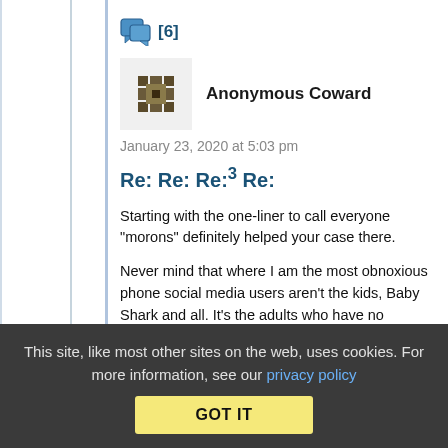[Figure (illustration): Chat/comment bubble icon with [6] label]
Anonymous Coward
January 23, 2020 at 5:03 pm
Re: Re: Re:³ Re:
Starting with the one-liner to call everyone "morons" definitely helped your case there.
Never mind that where I am the most obnoxious phone social media users aren't the kids, Baby Shark and all. It's the adults who have no concept of inside voice, sharing anti-vaxx sites and...
This site, like most other sites on the web, uses cookies. For more information, see our privacy policy GOT IT